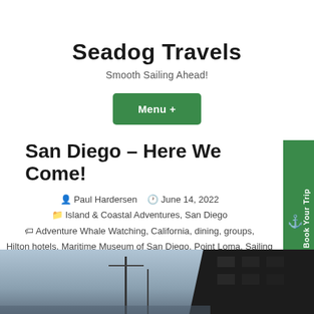Seadog Travels
Smooth Sailing Ahead!
Menu +
San Diego – Here We Come!
Paul Hardersen  June 14, 2022  Island & Coastal Adventures, San Diego  Adventure Whale Watching, California, dining, groups, Hilton hotels, Maritime Museum of San Diego, Point Loma, Sailing, San Diego, San Diego Parasail, tall ships, The Monsaraz
[Figure (photo): Bottom portion of a photo showing a harbor or marina scene with ship masts visible against a sky background, and a dark building structure on the right side.]